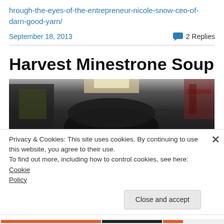hrough-the-eyes-of-the-entrepreneur-nicole-snow-ceo-of-darn-good-yarn/
September 18, 2013   2 Replies
Harvest Minestrone Soup
[Figure (photo): Dark photo of a cooking pot on a stovetop, partially visible from above]
Privacy & Cookies: This site uses cookies. By continuing to use this website, you agree to their use. To find out more, including how to control cookies, see here: Cookie Policy
Close and accept